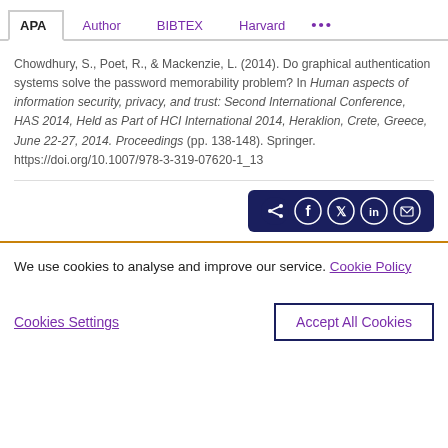APA | Author | BIBTEX | Harvard | ...
Chowdhury, S., Poet, R., & Mackenzie, L. (2014). Do graphical authentication systems solve the password memorability problem? In Human aspects of information security, privacy, and trust: Second International Conference, HAS 2014, Held as Part of HCI International 2014, Heraklion, Crete, Greece, June 22-27, 2014. Proceedings (pp. 138-148). Springer. https://doi.org/10.1007/978-3-319-07620-1_13
[Figure (other): Social share icons bar with share, Facebook, Twitter, LinkedIn, and email icons on dark navy background]
We use cookies to analyse and improve our service. Cookie Policy
Cookies Settings | Accept All Cookies